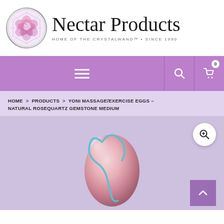[Figure (logo): Nectar Products logo: circular emblem with pink lotus flower and geometric pattern, with 'Nectar Products' cursive text and tagline 'HOME OF THE CRYSTALWAND™ • SINCE 1990']
[Figure (screenshot): Purple navigation bar with hamburger menu icon, search icon, and shopping cart icon with badge showing 0]
HOME > PRODUCTS > YONI MASSAGE/EXERCISE EGGS – NATURAL ROSEQUARTZ GEMSTONE MEDIUM
[Figure (photo): Product photo of a pink rose quartz gemstone egg with a blue cord/string, shown on a light lavender background. A zoom magnifier button and scroll-to-top button are overlaid on the image.]